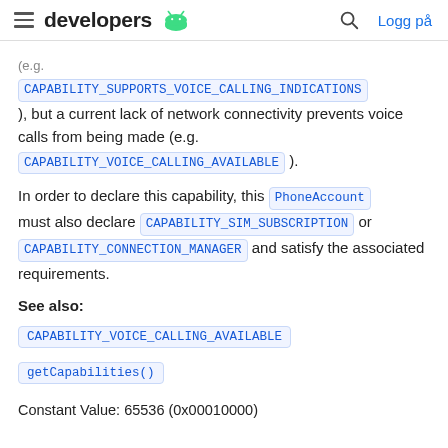developers  Logg på
(e.g. CAPABILITY_SUPPORTS_VOICE_CALLING_INDICATIONS ), but a current lack of network connectivity prevents voice calls from being made (e.g. CAPABILITY_VOICE_CALLING_AVAILABLE ).
In order to declare this capability, this PhoneAccount must also declare CAPABILITY_SIM_SUBSCRIPTION or CAPABILITY_CONNECTION_MANAGER and satisfy the associated requirements.
See also:
CAPABILITY_VOICE_CALLING_AVAILABLE
getCapabilities()
Constant Value: 65536 (0x00010000)